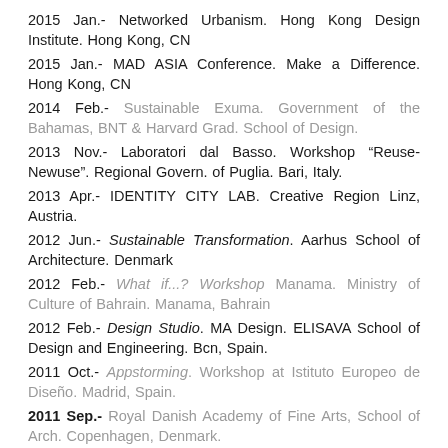2015 Jan.- Networked Urbanism. Hong Kong Design Institute. Hong Kong, CN
2015 Jan.- MAD ASIA Conference. Make a Difference. Hong Kong, CN
2014 Feb.- Sustainable Exuma. Government of the Bahamas, BNT & Harvard Grad. School of Design.
2013 Nov.- Laboratori dal Basso. Workshop "Reuse-Newuse". Regional Govern. of Puglia. Bari, Italy.
2013 Apr.- IDENTITY CITY LAB. Creative Region Linz, Austria.
2012 Jun.- Sustainable Transformation. Aarhus School of Architecture. Denmark
2012 Feb.- What if...? Workshop Manama. Ministry of Culture of Bahrain. Manama, Bahrain
2012 Feb.- Design Studio. MA Design. ELISAVA School of Design and Engineering. Bcn, Spain.
2011 Oct.- Appstorming. Workshop at Istituto Europeo de Diseño. Madrid, Spain.
2011 Sep.- Royal Danish Academy of Fine Arts, School of Arch. Copenhagen, Denmark.
2011 Sep.- Urban Social Design. Workshop at Univ.